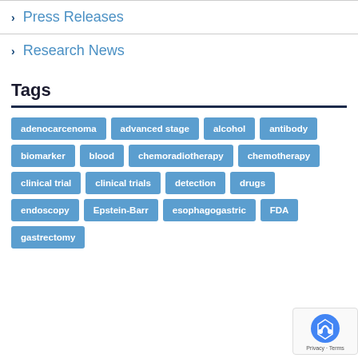Press Releases
Research News
Tags
adenocarcenoma advanced stage alcohol antibody biomarker blood chemoradiotherapy chemotherapy clinical trial clinical trials detection drugs endoscopy Epstein-Barr esophagogastric FDA gastrectomy